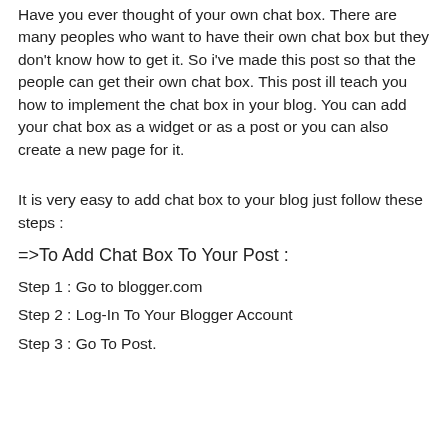Have you ever thought of your own chat box. There are many peoples who want to have their own chat box but they don't know how to get it. So i've made this post so that the people can get their own chat box. This post ill teach you how to implement the chat box in your blog. You can add your chat box as a widget or as a post or you can also create a new page for it.
It is very easy to add chat box to your blog just follow these steps :
=>To Add Chat Box To Your Post :
Step 1 : Go to blogger.com
Step 2 : Log-In To Your Blogger Account
Step 3 : Go To Post.